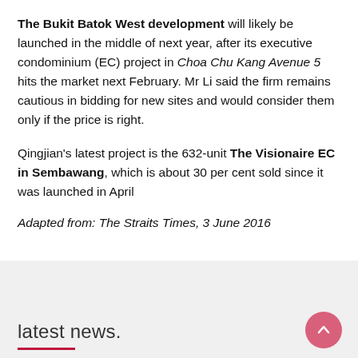The Bukit Batok West development will likely be launched in the middle of next year, after its executive condominium (EC) project in Choa Chu Kang Avenue 5 hits the market next February. Mr Li said the firm remains cautious in bidding for new sites and would consider them only if the price is right.
Qingjian's latest project is the 632-unit The Visionaire EC in Sembawang, which is about 30 per cent sold since it was launched in April
Adapted from: The Straits Times, 3 June 2016
latest news.